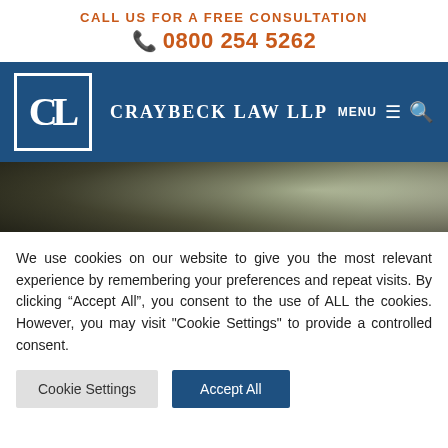CALL US FOR A FREE CONSULTATION
0800 254 5262
[Figure (logo): Craybeck Law LLP logo with CL monogram in white border box on blue background, with firm name CRAYBECK LAW LLP in white serif text, MENU and search icons on right]
[Figure (photo): Dark nature/tree background hero image banner]
We use cookies on our website to give you the most relevant experience by remembering your preferences and repeat visits. By clicking “Accept All”, you consent to the use of ALL the cookies. However, you may visit "Cookie Settings" to provide a controlled consent.
Cookie Settings | Accept All